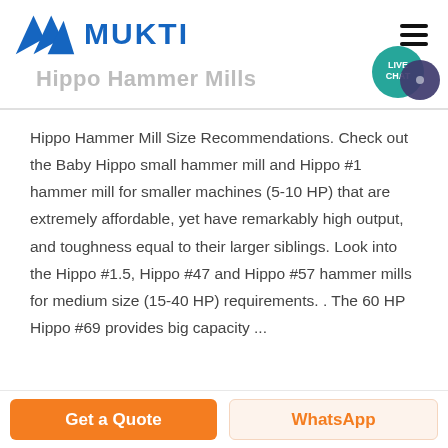MUKTI
Hippo Hammer Mills
Hippo Hammer Mill Size Recommendations. Check out the Baby Hippo small hammer mill and Hippo #1 hammer mill for smaller machines (5-10 HP) that are extremely affordable, yet have remarkably high output, and toughness equal to their larger siblings. Look into the Hippo #1.5, Hippo #47 and Hippo #57 hammer mills for medium size (15-40 HP) requirements. . The 60 HP Hippo #69 provides big capacity ...
Get a Quote | WhatsApp